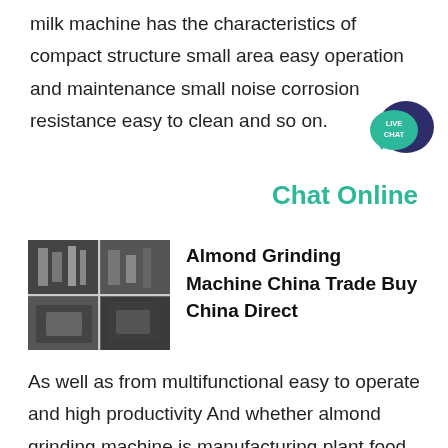milk machine has the characteristics of compact structure small area easy operation and maintenance small noise corrosion resistance easy to clean and so on.
[Figure (other): Live Chat speech bubble icon with text LIVE CHAT]
Chat Online
[Figure (photo): Industrial almond grinding machine equipment photo collage]
Almond Grinding Machine China Trade Buy China Direct
As well as from multifunctional easy to operate and high productivity And whether almond grinding machine is manufacturing plant food beverage factory or hotels There are 33 541 almond grinding machine suppliers mainly located in Asia The top